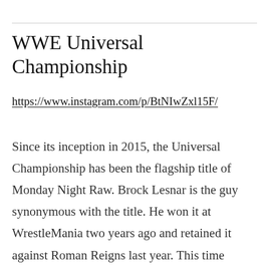WWE Universal Championship
https://www.instagram.com/p/BtNIwZxl15F/
Since its inception in 2015, the Universal Championship has been the flagship title of Monday Night Raw. Brock Lesnar is the guy synonymous with the title. He won it at WrestleMania two years ago and retained it against Roman Reigns last year. This time around, he faces the Royal Rumble winner, Seth Rollins. They've only met once before and there